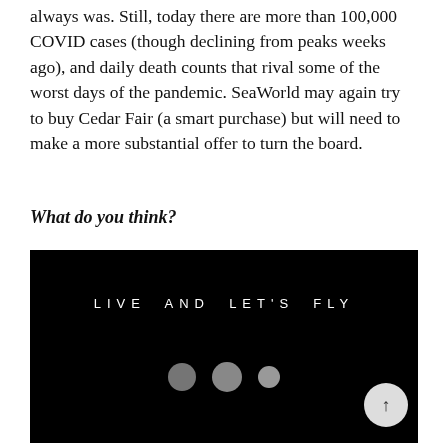always was. Still, today there are more than 100,000 COVID cases (though declining from peaks weeks ago), and daily death counts that rival some of the worst days of the pandemic. SeaWorld may again try to buy Cedar Fair (a smart purchase) but will need to make a more substantial offer to turn the board.
What do you think?
[Figure (screenshot): Dark black banner image with white spaced text reading 'LIVE AND LET'S FLY', three gray loading dots below, and an up-arrow scroll button at bottom right]